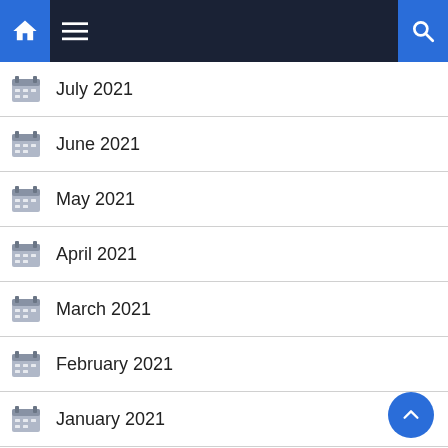Navigation bar with home, menu, and search icons
July 2021
June 2021
May 2021
April 2021
March 2021
February 2021
January 2021
November 2020
August 2020
June 2020